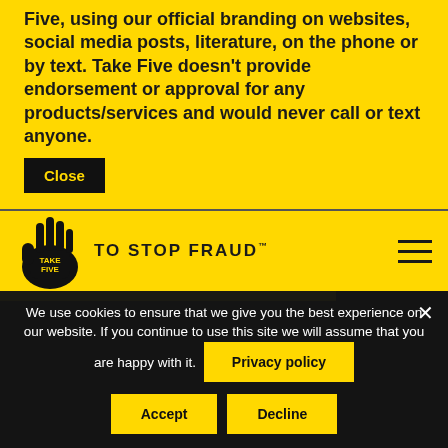Five, using our official branding on websites, social media posts, literature, on the phone or by text. Take Five doesn't provide endorsement or approval for any products/services and would never call or text anyone.
Close
[Figure (logo): Take Five to Stop Fraud logo — black hand with TAKE FIVE text, next to TO STOP FRAUD wordmark in black uppercase]
[Figure (illustration): Hamburger menu icon — three horizontal black lines]
We use cookies to ensure that we give you the best experience on our website. If you continue to use this site we will assume that you are happy with it.
Privacy policy
Accept
Decline